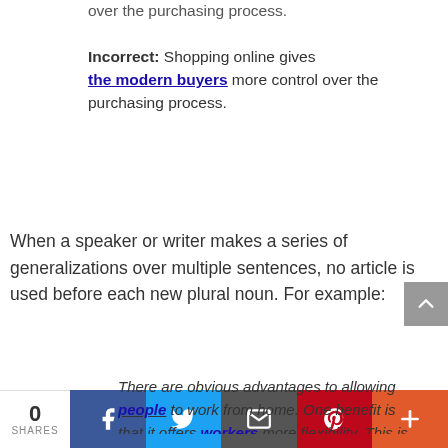over the purchasing process.

Incorrect: Shopping online gives the modern buyers more control over the purchasing process.
When a speaker or writer makes a series of generalizations over multiple sentences, no article is used before each new plural noun. For example:
There are obvious advantages to allowing people to work from home. One benefit is that it offers workers more flexibility. This is particularly
0 SHARES | Facebook | Twitter | Email | Pinterest | More